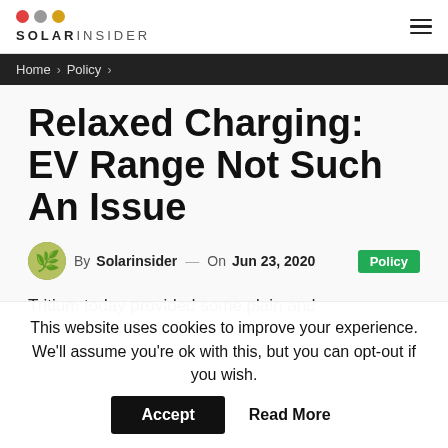SOLAR INSIDER
Home > Policy >
Relaxed Charging: EV Range Not Such An Issue
By Solarinsider — On Jun 23, 2020  Policy
Tritium today provided some plain and
This website uses cookies to improve your experience. We'll assume you're ok with this, but you can opt-out if you wish.